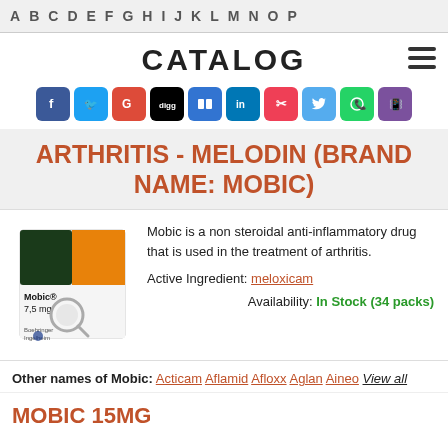A B C D E F G H I J K L M N O P
CATALOG
[Figure (infographic): Row of social media sharing icons: Facebook, Twitter, Google+, Digg, Delicious, LinkedIn, Pocket, Twitter, WhatsApp, Viber]
ARTHRITIS - MELODIN (BRAND NAME: MOBIC)
[Figure (photo): Photo of Mobic 7.5mg tablet box with magnifying glass overlay]
Mobic is a non steroidal anti-inflammatory drug that is used in the treatment of arthritis.
Active Ingredient: meloxicam
Availability: In Stock (34 packs)
Other names of Mobic: Acticam Aflamid Afloxx Aglan Aineo View all
MOBIC 15MG